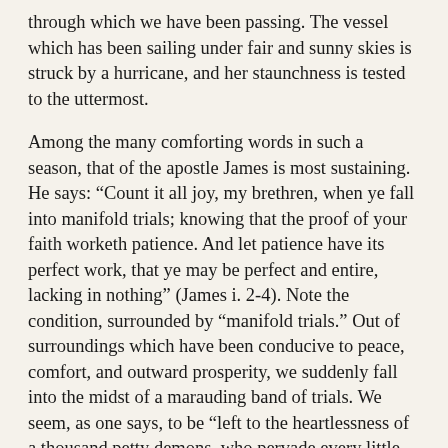through which we have been passing. The vessel which has been sailing under fair and sunny skies is struck by a hurricane, and her staunchness is tested to the uttermost.
Among the many comforting words in such a season, that of the apostle James is most sustaining. He says: “Count it all joy, my brethren, when ye fall into manifold trials; knowing that the proof of your faith worketh patience. And let patience have its perfect work, that ye may be perfect and entire, lacking in nothing” (James i. 2-4). Note the condition, surrounded by “manifold trials.” Out of surroundings which have been conducive to peace, comfort, and outward prosperity, we suddenly fall into the midst of a marauding band of trials. We seem, as one says, to be “left to the heartlessness of a thousand petty demons, who pervade every little circumstance; who seem, like the fabled Lilliputians, to tie our hands and feet while we sleep; who snap all the threads of our financial looms; who upset our ordinary plans; who turn anticipated joys into ashes. There are times when a current of such things seems to set in; times when everything seems to weave itself into a network